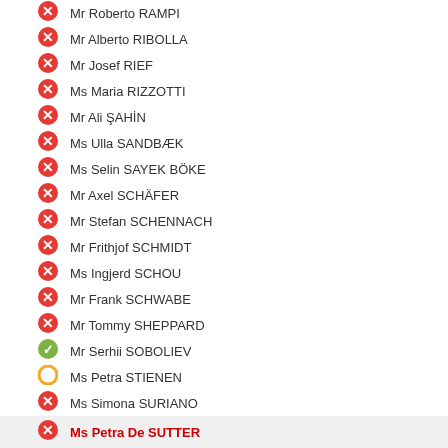Mr Roberto RAMPI
Mr Alberto RIBOLLA
Mr Josef RIEF
Ms Maria RIZZOTTI
Mr Ali ŞAHİN
Ms Ulla SANDBÆK
Ms Selin SAYEK BÖKE
Mr Axel SCHÄFER
Mr Stefan SCHENNACH
Mr Frithjof SCHMIDT
Ms Ingjerd SCHOU
Mr Frank SCHWABE
Mr Tommy SHEPPARD
Mr Serhii SOBOLIEV
Ms Petra STIENEN
Ms Simona SURIANO
Ms Petra De SUTTER